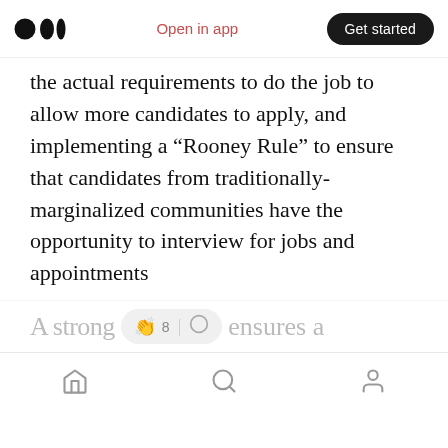Open in app | Get started
the actual requirements to do the job to allow more candidates to apply, and implementing a “Rooney Rule” to ensure that candidates from traditionally-marginalized communities have the opportunity to interview for jobs and appointments
Increasing Council staff pay and increasing office budgets to put the Council on equal footing with the Executive
A strong … ensures a
Home | Search | Profile